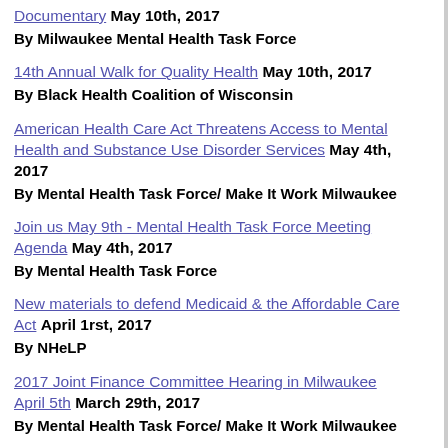Documentary May 10th, 2017
By Milwaukee Mental Health Task Force
14th Annual Walk for Quality Health May 10th, 2017
By Black Health Coalition of Wisconsin
American Health Care Act Threatens Access to Mental Health and Substance Use Disorder Services May 4th, 2017
By Mental Health Task Force/ Make It Work Milwaukee
Join us May 9th - Mental Health Task Force Meeting Agenda May 4th, 2017
By Mental Health Task Force
New materials to defend Medicaid & the Affordable Care Act April 1rst, 2017
By NHeLP
2017 Joint Finance Committee Hearing in Milwaukee April 5th March 29th, 2017
By Mental Health Task Force/ Make It Work Milwaukee
2018 BHD budget priorities March 28th, 2017